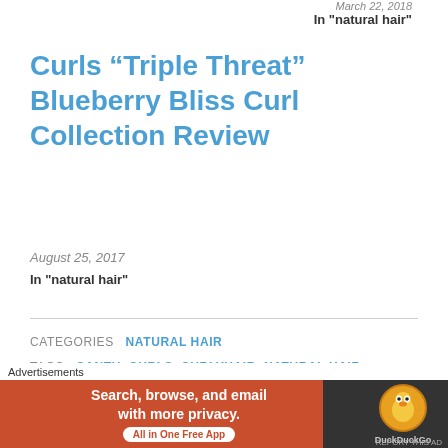March 22, 2018
In "natural hair"
Curls “Triple Threat” Blueberry Bliss Curl Collection Review
August 25, 2017
In "natural hair"
CATEGORIES   NATURAL HAIR
TAGS   CANTU, CURLS, CURLYHAIR, NATURAL HAIR
PREVIOUS
Advertisements
[Figure (screenshot): DuckDuckGo advertisement banner: Search, browse, and email with more privacy. All in One Free App.]